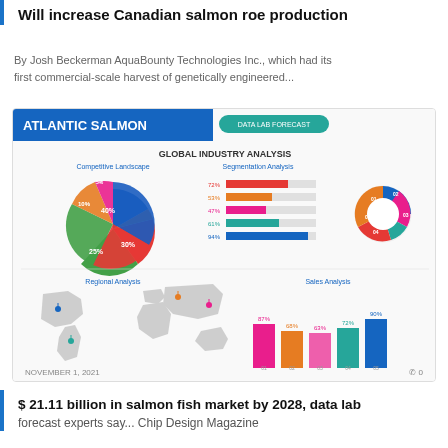Will increase Canadian salmon roe production
By Josh Beckerman AquaBounty Technologies Inc., which had its first commercial-scale harvest of genetically engineered...
[Figure (infographic): Atlantic Salmon Global Industry Analysis infographic showing: pie chart of Competitive Landscape with segments 40%, 30%, 25%, 10%, 5%; bar chart of Segmentation Analysis with values 72%, 53%, 47%, 61%, 94%; donut chart of Segmentation Analysis with 5 segments labeled 01-05; world map for Regional Analysis; bar chart of Sales Analysis with values 87%, 68%, 63%, 72%, 90% for items 01-05]
NOVEMBER 1, 2021   0
$ 21.11 billion in salmon fish market by 2028, data lab forecast experts say... Chip Design Magazine